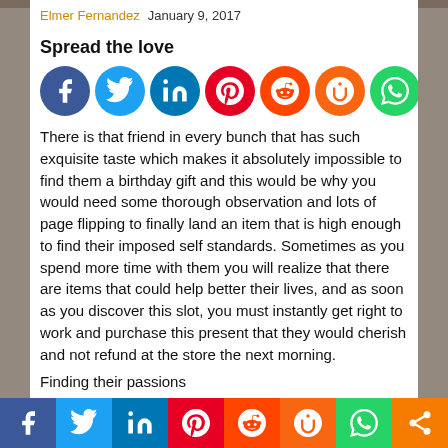Elmer Fernandez   January 9, 2017
Spread the love
[Figure (infographic): Row of social media icon circles: Facebook, Twitter, LinkedIn, Pinterest, Reddit, Mix, WhatsApp, Share]
There is that friend in every bunch that has such exquisite taste which makes it absolutely impossible to find them a birthday gift and this would be why you would need some thorough observation and lots of page flipping to finally land an item that is high enough to find their imposed self standards. Sometimes as you spend more time with them you will realize that there are items that could help better their lives, and as soon as you discover this slot, you must instantly get right to work and purchase this present that they would cherish and not refund at the store the next morning.
Finding their passions
Chances are that they would have everything in top condition and there would not be anything that they lack, but as you
[Figure (infographic): Bottom navigation bar with social media icons: Facebook, Twitter, LinkedIn, Pinterest, Reddit, Mix, WhatsApp, Share]